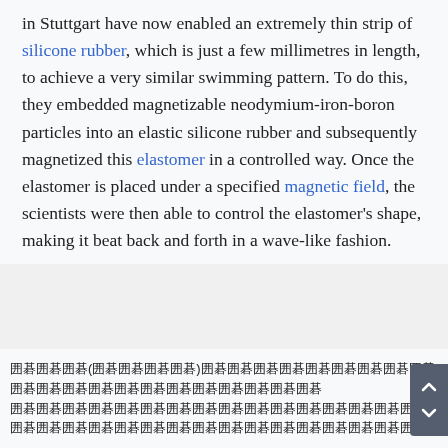in Stuttgart have now enabled an extremely thin strip of silicone rubber, which is just a few millimetres in length, to achieve a very similar swimming pattern. To do this, they embedded magnetizable neodymium-iron-boron particles into an elastic silicone rubber and subsequently magnetized this elastomer in a controlled way. Once the elastomer is placed under a specified magnetic field, the scientists were then able to control the elastomer's shape, making it beat back and forth in a wave-like fashion.
[CJK text block - Japanese/Chinese characters describing related content]